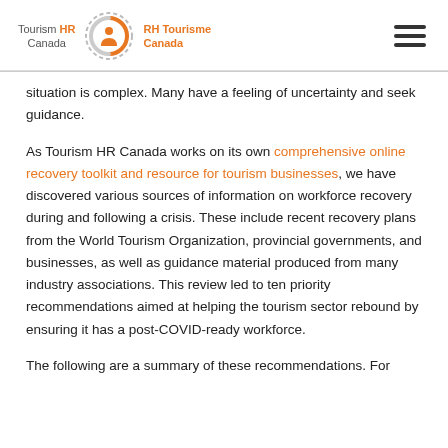Tourism HR Canada | RH Tourisme Canada
situation is complex. Many have a feeling of uncertainty and seek guidance.
As Tourism HR Canada works on its own comprehensive online recovery toolkit and resource for tourism businesses, we have discovered various sources of information on workforce recovery during and following a crisis. These include recent recovery plans from the World Tourism Organization, provincial governments, and businesses, as well as guidance material produced from many industry associations. This review led to ten priority recommendations aimed at helping the tourism sector rebound by ensuring it has a post-COVID-ready workforce.
The following are a summary of these recommendations. For